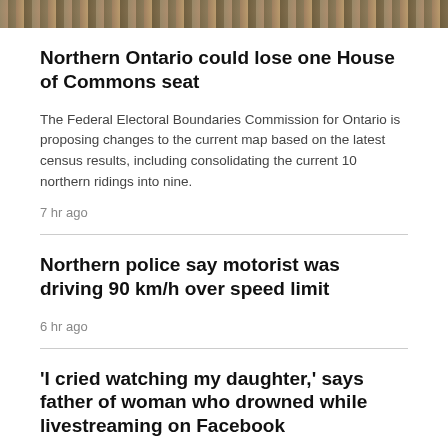[Figure (photo): Partial view of an outdoor nature/landscape photo strip at the top of the page]
Northern Ontario could lose one House of Commons seat
The Federal Electoral Boundaries Commission for Ontario is proposing changes to the current map based on the latest census results, including consolidating the current 10 northern ridings into nine.
7 hr ago
Northern police say motorist was driving 90 km/h over speed limit
6 hr ago
'I cried watching my daughter,' says father of woman who drowned while livestreaming on Facebook
2 hr ago